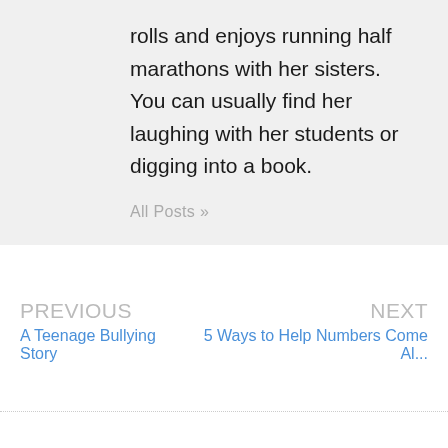rolls and enjoys running half marathons with her sisters. You can usually find her laughing with her students or digging into a book.
All Posts »
PREVIOUS: A Teenage Bullying Story | NEXT: 5 Ways to Help Numbers Come Al...